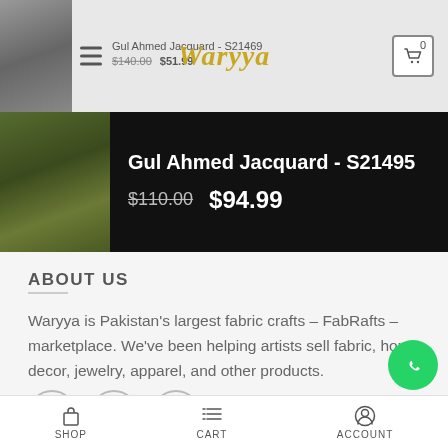Waryya
Gul Ahmed Jacquard - S21495
$110.00 $94.99
ABOUT US
Waryya is Pakistan's largest fabric crafts – FabRafts – marketplace. We've been helping artists sell fabric, home decor, jewelry, apparel, and other products.
SHOP  CART  ACCOUNT